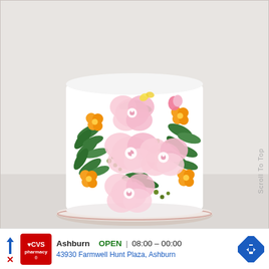[Figure (photo): A white frosted cylindrical cake decorated with hand-painted pink flowers, orange flowers, green leaves, and yellow accents, placed on a marble cake stand against a light grey background. A 'Scroll To Top' vertical label appears on the right side.]
Scroll To Top
[Figure (other): CVS Pharmacy advertisement banner showing CVS logo, location 'Ashburn', status 'OPEN | 08:00 - 00:00', address '43930 Farmwell Hunt Plaza, Ashburn', and a blue navigation arrow icon.]